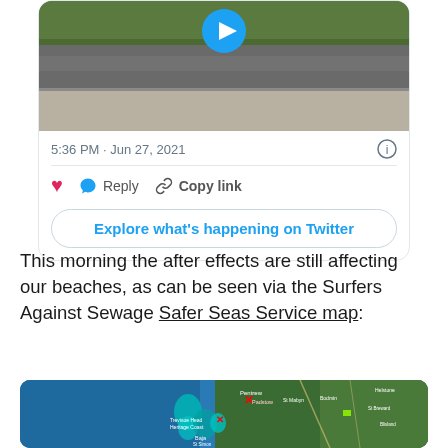[Figure (screenshot): Twitter/X embedded tweet card showing a video thumbnail (wet pavement/road scene with play button), timestamp '5:36 PM · Jun 27, 2021', reaction icons (heart, reply, copy link), and 'Explore what's happening on Twitter' button]
This morning the after effects are still affecting our beaches, as can be seen via the Surfers Against Sewage Safer Seas Service map:
[Figure (map): Google Maps satellite view showing coastal area with location markers including Pentrew, Trevisoe Head Heritage Coast, Baja area, with teal water overflow indicators and red X markers]